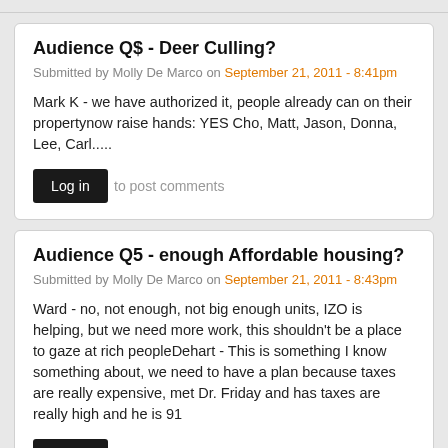Audience Q$ - Deer Culling?
Submitted by Molly De Marco on September 21, 2011 - 8:41pm
Mark K - we have authorized it, people already can on their propertynow raise hands: YES Cho, Matt, Jason, Donna, Lee, Carl.....
Log in to post comments
Audience Q5 - enough Affordable housing?
Submitted by Molly De Marco on September 21, 2011 - 8:43pm
Ward - no, not enough, not big enough units, IZO is helping, but we need more work, this shouldn't be a place to gaze at rich peopleDehart -  This is something I know something about, we need to have a plan because taxes are really expensive, met Dr. Friday and has taxes are really high and he is 91